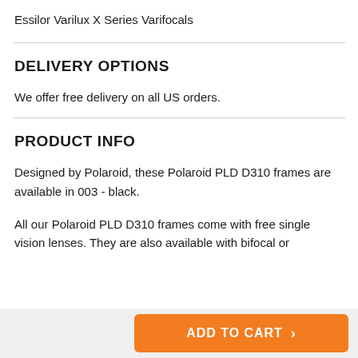Essilor Varilux X Series Varifocals
DELIVERY OPTIONS
We offer free delivery on all US orders.
PRODUCT INFO
Designed by Polaroid, these Polaroid PLD D310 frames are available in 003 - black.
All our Polaroid PLD D310 frames come with free single vision lenses. They are also available with bifocal or
ADD TO CART >